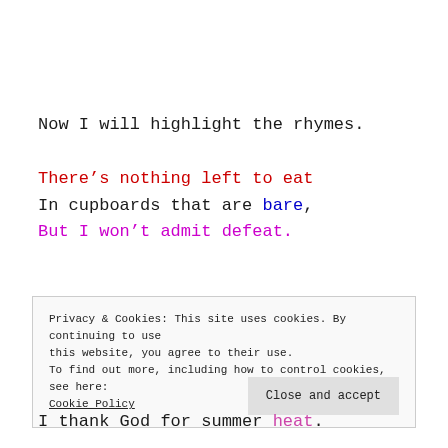Now I will highlight the rhymes.
There’s nothing left to eat
In cupboards that are bare,
But I won’t admit defeat.
Privacy & Cookies: This site uses cookies. By continuing to use this website, you agree to their use.
To find out more, including how to control cookies, see here:
Cookie Policy
Close and accept
I thank God for summer heat.